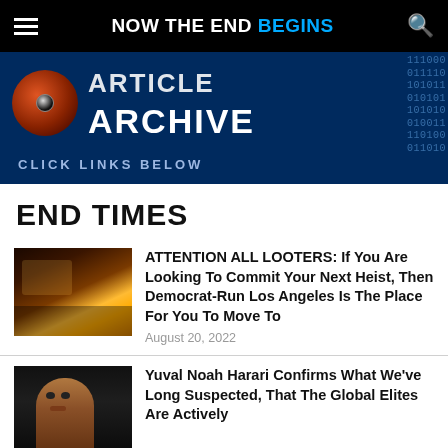NOW THE END BEGINS
[Figure (illustration): Article Archive banner with an eye graphic, binary code background, and text: ARTICLE ARCHIVE, CLICK LINKS BELOW]
END TIMES
[Figure (photo): Crowd scene at night with orange/yellow lighting, appearing to show looters or a chaotic scene]
ATTENTION ALL LOOTERS: If You Are Looking To Commit Your Next Heist, Then Democrat-Run Los Angeles Is The Place For You To Move To
August 20, 2022
[Figure (photo): Dark portrait photo of Yuval Noah Harari against black background]
Yuval Noah Harari Confirms What We've Long Suspected, That The Global Elites Are Actively